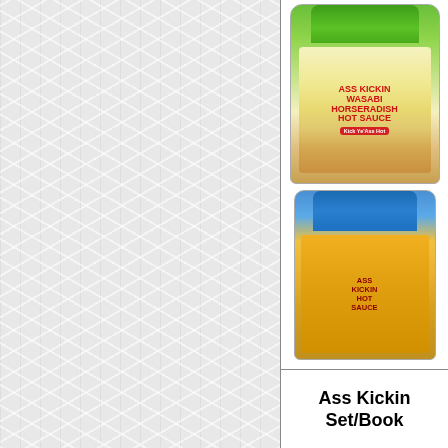[Figure (photo): Textured light gray/white background on the left two-thirds of the page, with a woven/crinkled paper-like pattern]
[Figure (photo): Two hot sauce bottles on right side: top bottle is green with 'Ass Kickin Wasabi Horseradish Hot Sauce' label and 'Kick Ye Ass' banner; bottom bottle is gold/amber with blue cap labeled 'Ass Kickin Hot Sauce']
Ass Kickin Set/Book